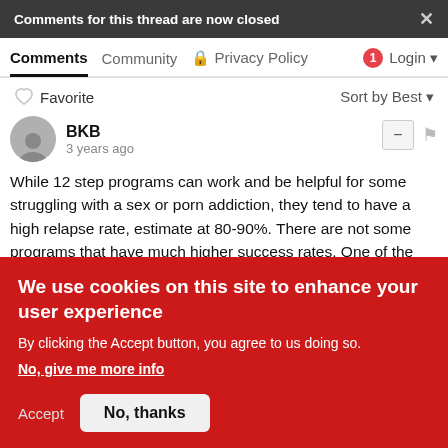Comments for this thread are now closed
Comments   Community   Privacy Policy   1  Login
♡ Favorite    Sort by Best
BKB
3 years ago
While 12 step programs can work and be helpful for some struggling with a sex or porn addiction, they tend to have a high relapse rate, estimate at 80-90%. There are not some programs that have much higher success rates. One of the best is in the book Power Over Pornography. It relies upon cognitive behavior
We use cookies on this site to enhance your user experience

By clicking the Accept button, you agree to us doing so.
No, give me more info

Accept    No, thanks